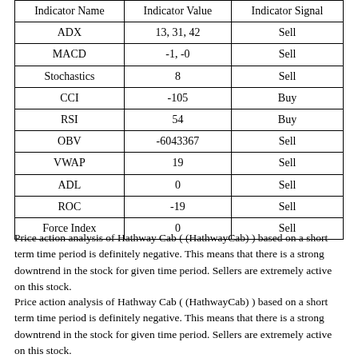| Indicator Name | Indicator Value | Indicator Signal |
| --- | --- | --- |
| ADX | 13, 31, 42 | Sell |
| MACD | -1, -0 | Sell |
| Stochastics | 8 | Sell |
| CCI | -105 | Buy |
| RSI | 54 | Buy |
| OBV | -6043367 | Sell |
| VWAP | 19 | Sell |
| ADL | 0 | Sell |
| ROC | -19 | Sell |
| Force Index | 0 | Sell |
Price action analysis of Hathway Cab ( (HathwayCab) ) based on a short term time period is definitely negative. This means that there is a strong downtrend in the stock for given time period. Sellers are extremely active on this stock.
Price action analysis of Hathway Cab ( (HathwayCab) ) based on a short term time period is definitely negative. This means that there is a strong downtrend in the stock for given time period. Sellers are extremely active on this stock.